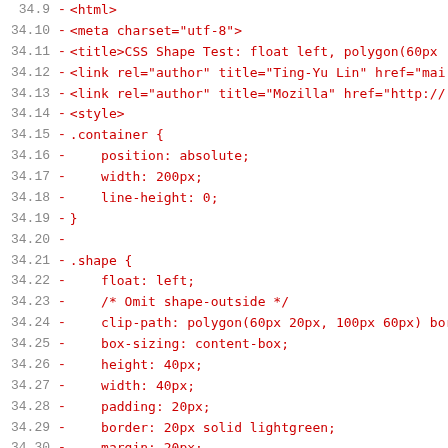Code diff showing HTML/CSS source with line numbers 34.9 through 34.41, displaying removed lines (prefixed with -) in red monospace font. Content includes HTML structure with meta charset, title for CSS Shape Test float left polygon, link elements for author Ting-Yu Lin and Mozilla, style block with .container (position absolute, width 200px, line-height 0), .shape (float left, clip-path polygon, box-sizing content-box, height 40px, width 40px, padding 20px, border 20px solid lightgreen, margin 20px, background-color orange), .box (position absolute, width 80px, background-color blue), and start of .long class.